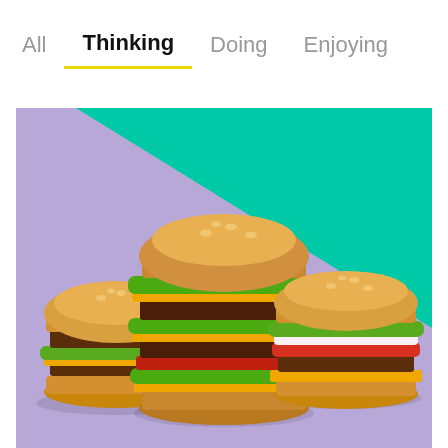All  Thinking  Doing  Enjoying
[Figure (photo): Three hamburgers displayed against a two-tone background of teal (upper right) and lavender (lower left): a classic double burger on the left, a tall triple-stacked burger in the center, and a burger with vegetables on the right.]